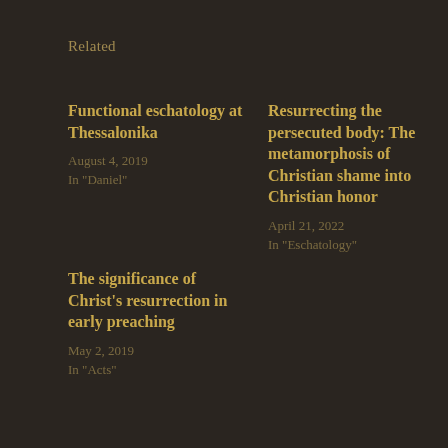Related
Functional eschatology at Thessalonika
August 4, 2019
In "Daniel"
Resurrecting the persecuted body: The metamorphosis of Christian shame into Christian honor
April 21, 2022
In "Eschatology"
The significance of Christ's resurrection in early preaching
May 2, 2019
In "Acts"